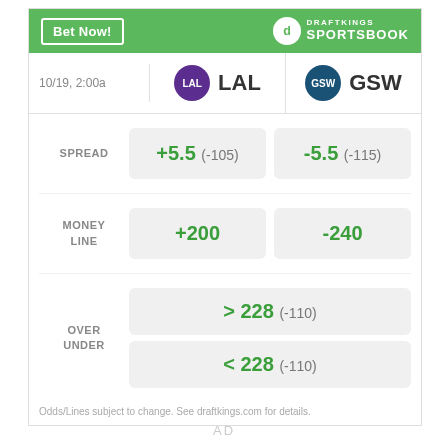[Figure (other): DraftKings Sportsbook betting odds widget for LAL vs GSW on 10/19 2:00a, showing spread, money line, and over/under odds]
AD